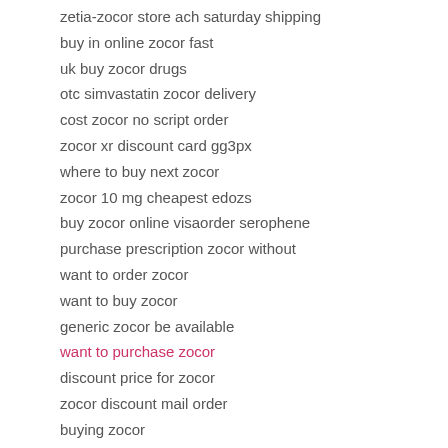zetia-zocor store ach saturday shipping
buy in online zocor fast
uk buy zocor drugs
otc simvastatin zocor delivery
cost zocor no script order
zocor xr discount card gg3px
where to buy next zocor
zocor 10 mg cheapest edozs
buy zocor online visaorder serophene
purchase prescription zocor without
want to order zocor
want to buy zocor
generic zocor be available
want to purchase zocor
discount price for zocor
zocor discount mail order
buying zocor
fedex delivery zocor aiesy
buy cheap zocor cheap